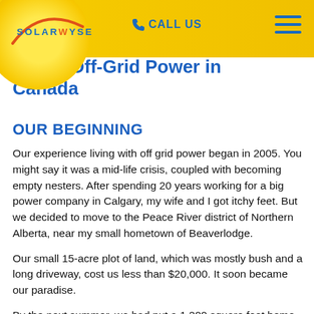SOLARWYSE — CALL US
…g with Off-Grid Power in Canada
OUR BEGINNING
Our experience living with off grid power began in 2005. You might say it was a mid-life crisis, coupled with becoming empty nesters. After spending 20 years working for a big power company in Calgary, my wife and I got itchy feet. But we decided to move to the Peace River district of Northern Alberta, near my small hometown of Beaverlodge.
Our small 15-acre plot of land, which was mostly bush and a long driveway, cost us less than $20,000. It soon became our paradise.
By the next summer, we had put a 1,200 square foot home on the property, complete with a septic system, drilled…